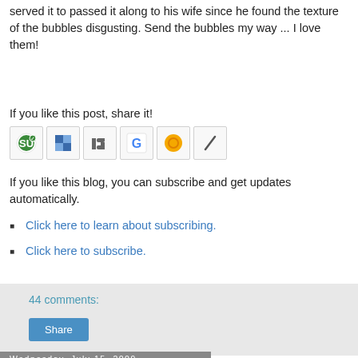served it to passed it along to his wife since he found the texture of the bubbles disgusting. Send the bubbles my way ... I love them!
If you like this post, share it!
[Figure (other): Six social sharing icon buttons: StumbleUpon, Delicious, Digg, Google, some orange icon, and another icon]
If you like this blog, you can subscribe and get updates automatically.
Click here to learn about subscribing.
Click here to subscribe.
44 comments:
Share
Wednesday, July 15, 2009
Bavarois à la Fraise (Strawberry Bavarian Cream with Strawberry